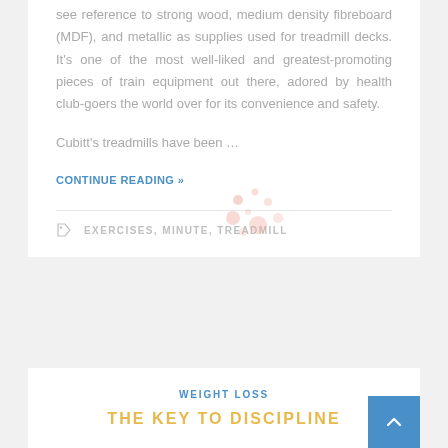see reference to strong wood, medium density fibreboard (MDF), and metallic as supplies used for treadmill decks. It's one of the most well-liked and greatest-promoting pieces of train equipment out there, adored by health club-goers the world over for its convenience and safety.
Cubitt's treadmills have been …
CONTINUE READING »
EXERCISES, MINUTE, TREADMILL
WEIGHT LOSS
THE KEY TO DISCIPLINE